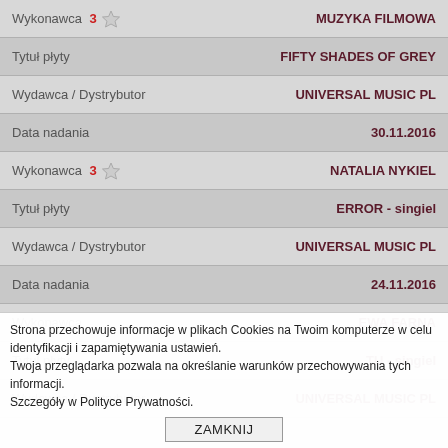| Pole | Wartość |
| --- | --- |
| Wykonawca ★3 | MUZYKA FILMOWA |
| Tytuł płyty | FIFTY SHADES OF GREY |
| Wydawca / Dystrybutor | UNIVERSAL MUSIC PL |
| Data nadania | 30.11.2016 |
| Wykonawca ★3 | NATALIA NYKIEL |
| Tytuł płyty | ERROR - singiel |
| Wydawca / Dystrybutor | UNIVERSAL MUSIC PL |
| Data nadania | 24.11.2016 |
| Wykonawca | EWA FARNA |
| Tytuł płyty | TU - singiel |
| Wydawca / Dystrybutor | UNIVERSAL MUSIC PL |
Strona przechowuje informacje w plikach Cookies na Twoim komputerze w celu identyfikacji i zapamiętywania ustawień. Twoja przeglądarka pozwala na określanie warunków przechowywania tych informacji. Szczegóły w Polityce Prywatności.
ZAMKNIJ